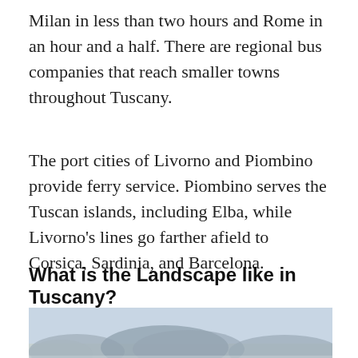Milan in less than two hours and Rome in an hour and a half. There are regional bus companies that reach smaller towns throughout Tuscany.
The port cities of Livorno and Piombino provide ferry service. Piombino serves the Tuscan islands, including Elba, while Livorno's lines go farther afield to Corsica, Sardinia, and Barcelona.
What is the Landscape like in Tuscany?
[Figure (photo): Landscape photograph of Tuscany showing rolling hills and mountains under a hazy blue sky with a valley in the foreground.]